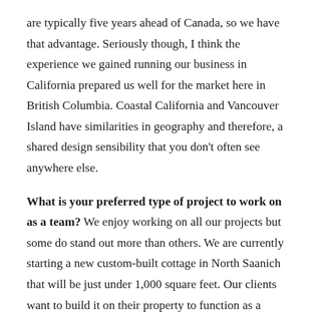are typically five years ahead of Canada, so we have that advantage. Seriously though, I think the experience we gained running our business in California prepared us well for the market here in British Columbia. Coastal California and Vancouver Island have similarities in geography and therefore, a shared design sensibility that you don't often see anywhere else.
What is your preferred type of project to work on as a team? We enjoy working on all our projects but some do stand out more than others. We are currently starting a new custom-built cottage in North Saanich that will be just under 1,000 square feet. Our clients want to build it on their property to function as a guesthouse for their family to enjoy and they plan to